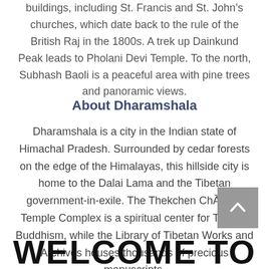buildings, including St. Francis and St. John’s churches, which date back to the rule of the British Raj in the 1800s. A trek up Dainkund Peak leads to Pholani Devi Temple. To the north, Subhash Baoli is a peaceful area with pine trees and panoramic views.
About Dharamshala
Dharamshala is a city in the Indian state of Himachal Pradesh. Surrounded by cedar forests on the edge of the Himalayas, this hillside city is home to the Dalai Lama and the Tibetan government-in-exile. The Thekchen Chöling Temple Complex is a spiritual center for Tibetan Buddhism, while the Library of Tibetan Works and Archives houses thousands of precious manuscripts.
WELCOME TO